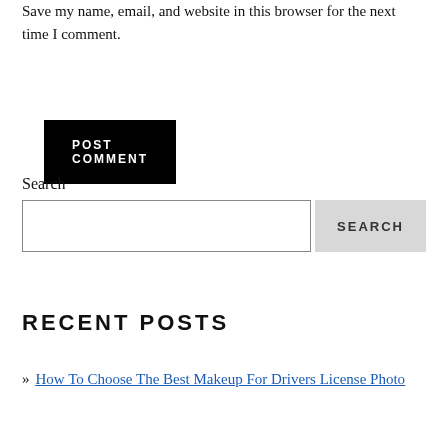Save my name, email, and website in this browser for the next time I comment.
POST COMMENT
Search
SEARCH
RECENT POSTS
» How To Choose The Best Makeup For Drivers License Photo